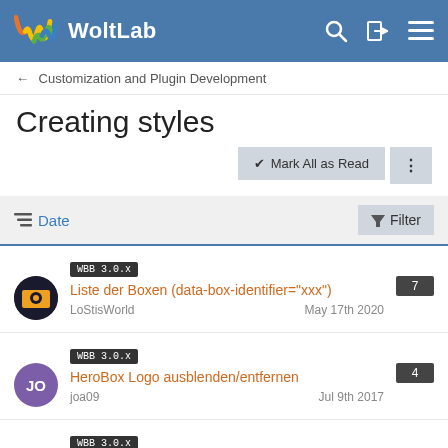WoltLab
← Customization and Plugin Development
Creating styles
✔ Mark All as Read
Date | Filter
WBB 3.0.x | Liste der Boxen (data-box-identifier="xxx") | LoStisWorld | May 17th 2020 | 7
WBB 3.0.x | HeroBox Logo ausblenden/entfernen | joa09 | Jul 9th 2017 | 4
WBB 3.0.x (partial)